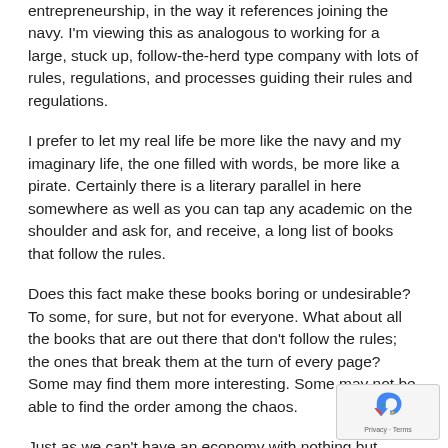entrepreneurship, in the way it references joining the navy. I'm viewing this as analogous to working for a large, stuck up, follow-the-herd type company with lots of rules, regulations, and processes guiding their rules and regulations.
I prefer to let my real life be more like the navy and my imaginary life, the one filled with words, be more like a pirate. Certainly there is a literary parallel in here somewhere as well as you can tap any academic on the shoulder and ask for, and receive, a long list of books that follow the rules.
Does this fact make these books boring or undesirable? To some, for sure, but not for everyone. What about all the books that are out there that don't follow the rules; the ones that break them at the turn of every page? Some may find them more interesting. Some may not be able to find the order among the chaos.
Just as we can't have an economy with nothing but pirates, can't have libraries filled with books that break all the rules,